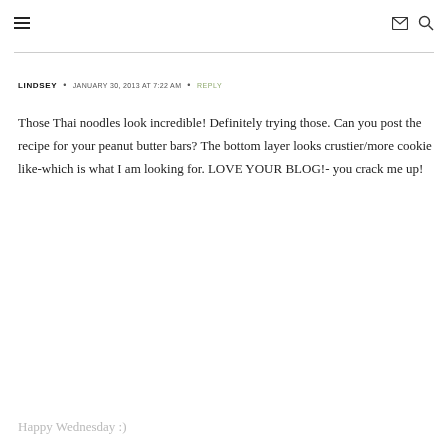≡  ✉ 🔍
LINDSEY  •  JANUARY 30, 2013 AT 7:22 AM  •  REPLY
Those Thai noodles look incredible! Definitely trying those. Can you post the recipe for your peanut butter bars? The bottom layer looks crustier/more cookie like-which is what I am looking for. LOVE YOUR BLOG!- you crack me up!
Happy Wednesday :)